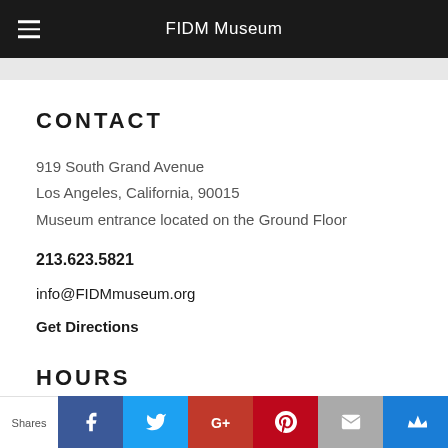FIDM Museum
CONTACT
919 South Grand Avenue
Los Angeles, California, 90015
Museum entrance located on the Ground Floor
213.623.5821
info@FIDMmuseum.org
Get Directions
HOURS
Shares